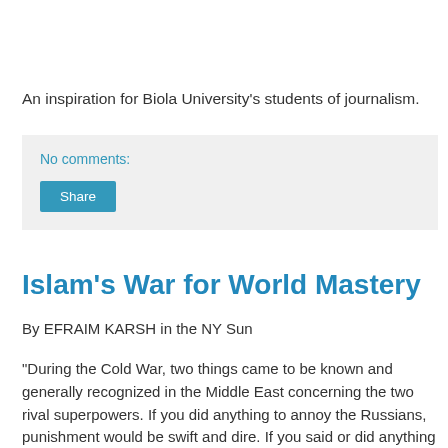An inspiration for Biola University's students of journalism.
No comments:
Share
Islam's War for World Mastery
By EFRAIM KARSH in the NY Sun
"During the Cold War, two things came to be known and generally recognized in the Middle East concerning the two rival superpowers. If you did anything to annoy the Russians, punishment would be swift and dire. If you said or did anything against the Americans, not only would there be no punishment; there might even be some possibility of reward."